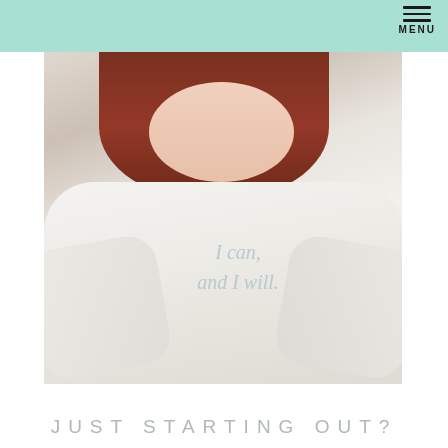MENU
[Figure (photo): A woman with reddish-brown hair wearing a white sweatshirt with cursive script text reading 'I can and I will', arms crossed, sitting against a light background]
JUST STARTING OUT?